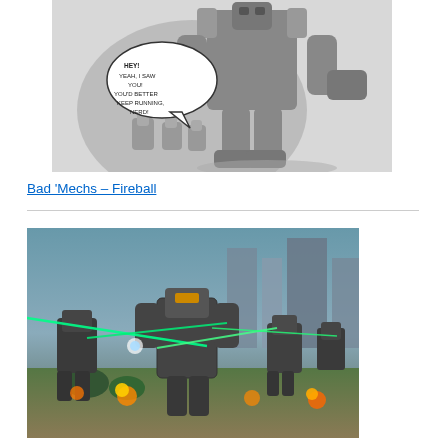[Figure (illustration): Black and white comic/illustration of large robot mechs with smaller mechs below and a speech bubble saying 'HEY! YEAH, I SAW YOU! YOU'D BETTER KEEP RUNNING, NERD!']
Bad 'Mechs – Fireball
[Figure (photo): Color screenshot or rendered image of large bipedal combat mechs fighting in an urban/outdoor environment with laser beams, explosions, and fire effects]